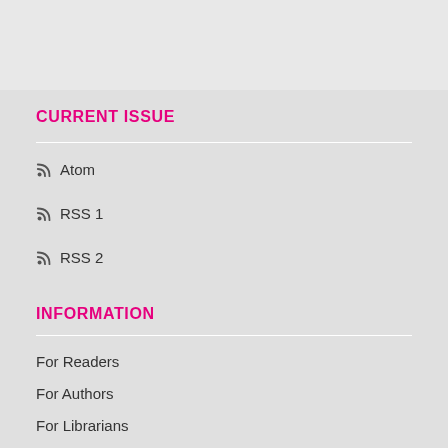CURRENT ISSUE
Atom
RSS 1
RSS 2
INFORMATION
For Readers
For Authors
For Librarians